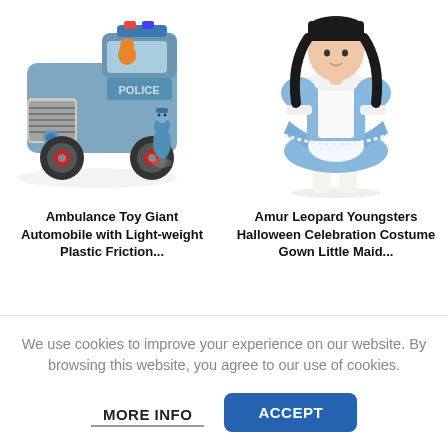[Figure (photo): Photo of a blue toy police truck with red wheels and a small blue police officer figure beside it, on a white background.]
[Figure (photo): Photo of a young girl wearing a blue and white Alice in Wonderland / little maid Halloween costume dress with white apron and knee-high white socks.]
Ambulance Toy Giant Automobile with Light-weight Plastic Friction...
Amur Leopard Youngsters Halloween Celebration Costume Gown Little Maid...
We use cookies to improve your experience on our website. By browsing this website, you agree to our use of cookies.
MORE INFO
ACCEPT